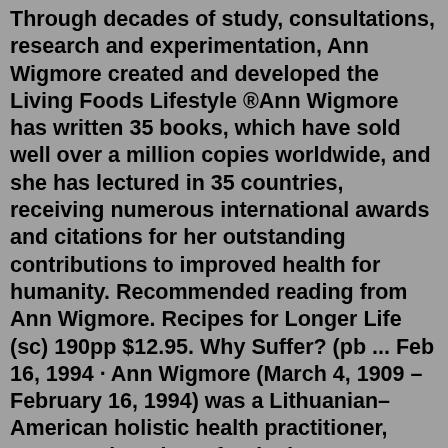Through decades of study, consultations, research and experimentation, Ann Wigmore created and developed the Living Foods Lifestyle ®Ann Wigmore has written 35 books, which have sold well over a million copies worldwide, and she has lectured in 35 countries, receiving numerous international awards and citations for her outstanding contributions to improved health for humanity. Recommended reading from Ann Wigmore. Recipes for Longer Life (sc) 190pp $12.95. Why Suffer? (pb ... Feb 16, 1994 · Ann Wigmore (March 4, 1909 – February 16, 1994) was a Lithuanian–American holistic health practitioner, naturopath and raw food advocate. Influenced by the 'back to nature' theories of Maximilian Bircher-Benner, she maintained that plants concentrated more solar energy ('Vital Force') than animals, and that wheatgrass could detoxify the body. The Life Summary of Ann When Ann Wigmore was christened on 7 December 1715, in Swallowfield, Berkshire, England, United Kingdom, her father, Thomas Wigmore, was 29 and her mother, Anne